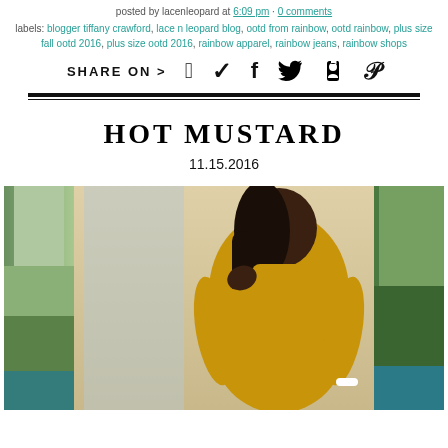posted by lacenleopard at 6:09 pm · 0 comments
labels: blogger tiffany crawford, lace n leopard blog, ootd from rainbow, ootd rainbow, plus size fall ootd 2016, plus size ootd 2016, rainbow apparel, rainbow jeans, rainbow shops
SHARE ON > f [twitter] p
HOT MUSTARD
11.15.2016
[Figure (photo): Woman wearing a mustard yellow turtleneck bodycon dress, standing outdoors with greenery in background. Split into three panels showing left side (trees/building), center (woman in mustard dress), and right (outdoor greenery/parking area).]